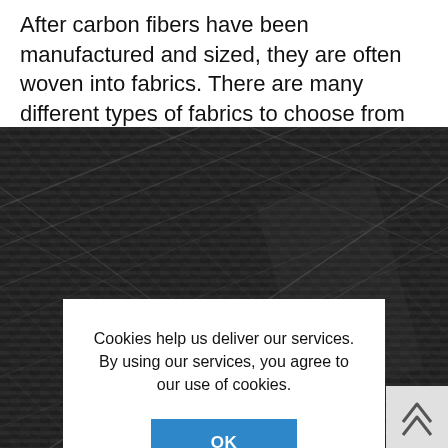After carbon fibers have been manufactured and sized, they are often woven into fabrics. There are many different types of fabrics to choose from
[Figure (photo): Black and white close-up photo of carbon fiber weave fabric with two red circular markers/dots overlaid on the image. A cookie consent dialog box overlays the image.]
Cookies help us deliver our services. By using our services, you agree to our use of cookies.
OK
Learn more